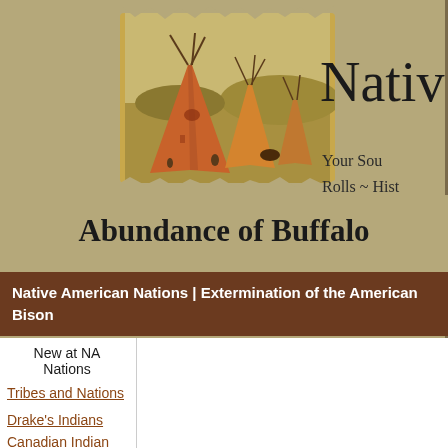[Figure (photo): Painting of Native American teepees/tipis on a plains landscape with figures and horses in the background]
Native A
Your Sou
Rolls ~ Hist
Abundance of Buffalo
Native American Nations | Extermination of the American Bison
New at NA Nations
Tribes and Nations
Drake's Indians
Canadian Indian Tribes